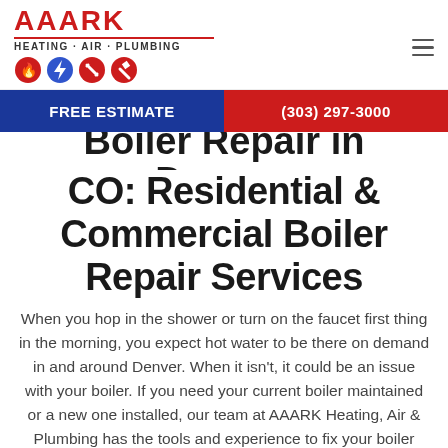[Figure (logo): AAARK Heating Air Plumbing logo with red text, underline, tagline, and service icons]
FREE ESTIMATE
(303) 297-3000
Boiler Repair in Denver, CO: Residential & Commercial Boiler Repair Services
When you hop in the shower or turn on the faucet first thing in the morning, you expect hot water to be there on demand in and around Denver. When it isn't, it could be an issue with your boiler. If you need your current boiler maintained or a new one installed, our team at AAARK Heating, Air & Plumbing has the tools and experience to fix your boiler problem in Denver. Our expertise is available for scheduled maintenance as well as emergency boiler